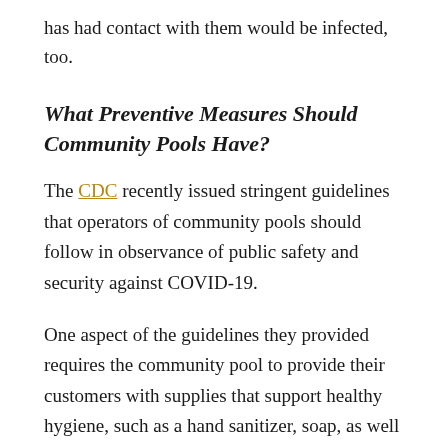has had contact with them would be infected, too.
What Preventive Measures Should Community Pools Have?
The CDC recently issued stringent guidelines that operators of community pools should follow in observance of public safety and security against COVID-19.
One aspect of the guidelines they provided requires the community pool to provide their customers with supplies that support healthy hygiene, such as a hand sanitizer, soap, as well as no-touch garbage bins.
In addition to these measures, they also recommend